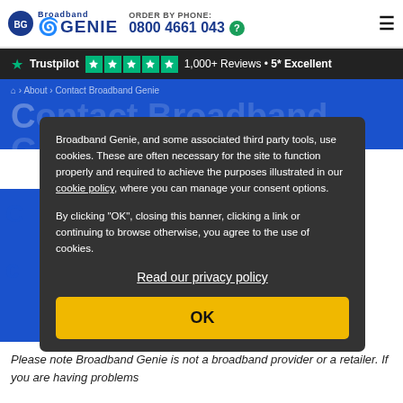Broadband Genie | ORDER BY PHONE: 0800 4661 043
[Figure (infographic): Trustpilot banner with 5 green stars, 1,000+ Reviews, 5* Excellent]
Broadband Genie, and some associated third party tools, use cookies. These are often necessary for the site to function properly and required to achieve the purposes illustrated in our cookie policy, where you can manage your consent options.
By clicking "OK", closing this banner, clicking a link or continuing to browse otherwise, you agree to the use of cookies.
Read our privacy policy
OK
Please note Broadband Genie is not a broadband provider or a retailer. If you are having problems